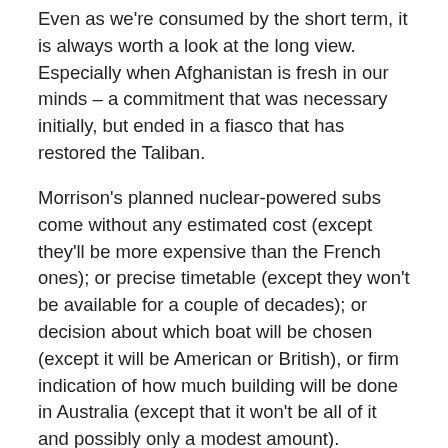Even as we're consumed by the short term, it is always worth a look at the long view. Especially when Afghanistan is fresh in our minds – a commitment that was necessary initially, but ended in a fiasco that has restored the Taliban.
Morrison's planned nuclear-powered subs come without any estimated cost (except they'll be more expensive than the French ones); or precise timetable (except they won't be available for a couple of decades); or decision about which boat will be chosen (except it will be American or British), or firm indication of how much building will be done in Australia (except that it won't be all of it and possibly only a modest amount).
If any of these aspects returns to bite, blame will (or should) rest on Morrison's head, whether he's around or not.